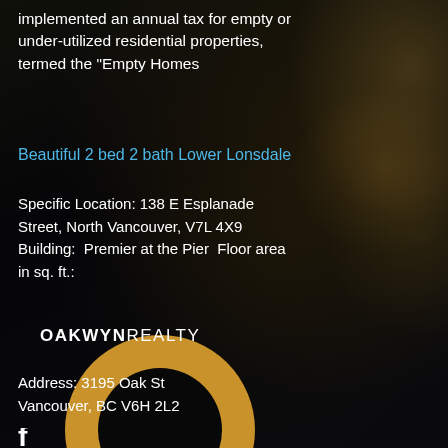implemented an annual tax for empty or under-utilized residential properties, termed the "Empty Homes
Beautiful 2 bed 2 bath Lower Lonsdale
Specific Location: 138 E Esplanade Street, North Vancouver, V7L 4X9 Building:  Premier at the Pier  Floor area in sq. ft.:
[Figure (logo): Oakwyn Realty logo: golden ring/circle shape above text OAKWYN REALTY]
Address: 3195 Oak St
Vancouver, BC V6H 2L2